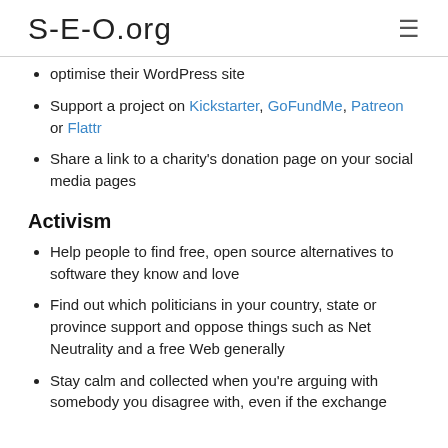S-E-O.org
optimise their WordPress site
Support a project on Kickstarter, GoFundMe, Patreon or Flattr
Share a link to a charity's donation page on your social media pages
Activism
Help people to find free, open source alternatives to software they know and love
Find out which politicians in your country, state or province support and oppose things such as Net Neutrality and a free Web generally
Stay calm and collected when you're arguing with somebody you disagree with, even if the exchange